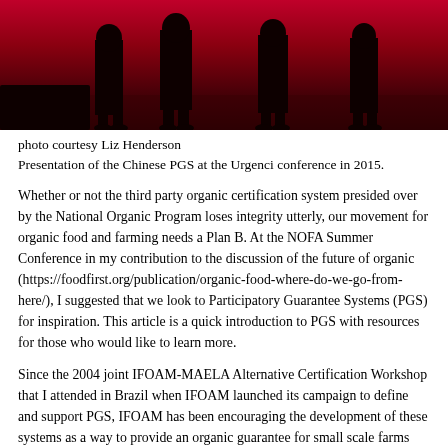[Figure (photo): Partial photo showing silhouettes of people on a red-lit stage, cropped at the top of the page.]
photo courtesy Liz Henderson
Presentation of the Chinese PGS at the Urgenci conference in 2015.
Whether or not the third party organic certification system presided over by the National Organic Program loses integrity utterly, our movement for organic food and farming needs a Plan B. At the NOFA Summer Conference in my contribution to the discussion of the future of organic (https://foodfirst.org/publication/organic-food-where-do-we-go-from-here/), I suggested that we look to Participatory Guarantee Systems (PGS) for inspiration. This article is a quick introduction to PGS with resources for those who would like to learn more.
Since the 2004 joint IFOAM-MAELA Alternative Certification Workshop that I attended in Brazil when IFOAM launched its campaign to define and support PGS, IFOAM has been encouraging the development of these systems as a way to provide an organic guarantee for small scale farms (smallholders) that cannot afford third party certification and to build local markets. (MAELA is the Movement for Agroecological Agriculture of Latin America and the Caribbean, a coalition that is deeply committed to